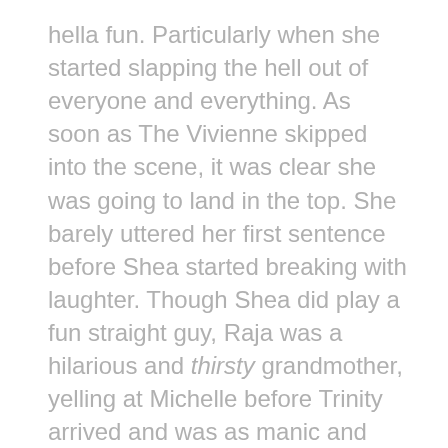hella fun. Particularly when she started slapping the hell out of everyone and everything. As soon as The Vivienne skipped into the scene, it was clear she was going to land in the top. She barely uttered her first sentence before Shea started breaking with laughter. Though Shea did play a fun straight guy, Raja was a hilarious and thirsty grandmother, yelling at Michelle before Trinity arrived and was as manic and stupid as you've come to expect. Though it was far and away The Vivienne's scene, as she cycled through the accents and was completely bonkers and well, it was the best.
Runway Day arrived with The Viv still running through the accents as the groups split up to talk through their performances with Raja praising The Viv standing out in their scene, despite the fact they all did so well. As